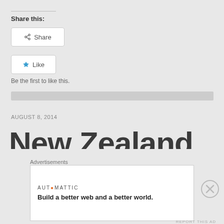Share this:
Share
Like
Be the first to like this.
AUGUST 8, 2014
New Zealand Customs 'Cash
Advertisements
AUTOMATTIC
Build a better web and a better world.